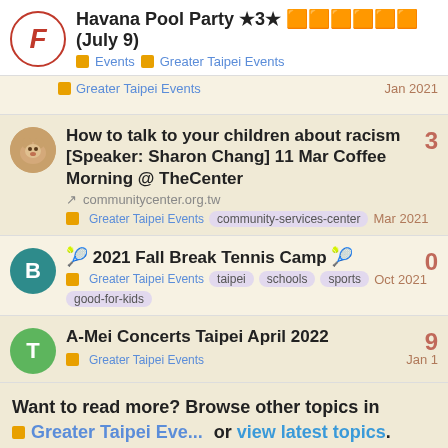Havana Pool Party ★3★ 🟧🟧🟧🟧🟧🟧 (July 9) — Events › Greater Taipei Events
Greater Taipei Events — Jan 2021
How to talk to your children about racism [Speaker: Sharon Chang] 11 Mar Coffee Morning @ TheCenter — communitycenter.org.tw — Greater Taipei Events, community-services-center — Mar 2021 — replies: 3
🎾 2021 Fall Break Tennis Camp 🎾 — Greater Taipei Events, taipei, schools, sports, good-for-kids — Oct 2021 — replies: 0
A-Mei Concerts Taipei April 2022 — Greater Taipei Events — Jan 1 — replies: 9
Want to read more? Browse other topics in Greater Taipei Eve... or view latest topics.